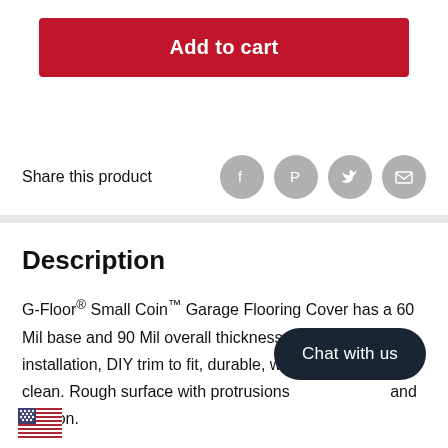Add to cart
Share this product
Description
G-Floor® Small Coin™ Garage Flooring Cover has a 60 Mil base and 90 Mil overall thickness. Easy roll out installation, DIY trim to fit, durable, waterproof, easy to clean. Rough surface with protrusions provides grip and traction.
Chat with us